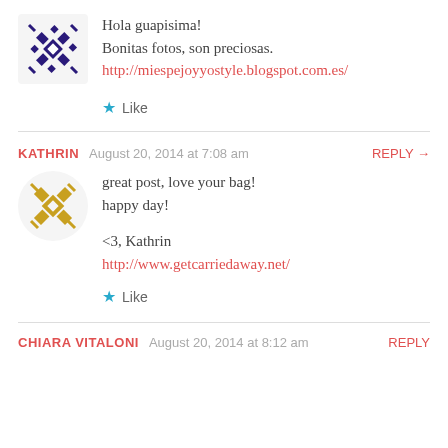Hola guapisima!
Bonitas fotos, son preciosas.
http://miespejoyyostyle.blogspot.com.es/
Like
KATHRIN   August 20, 2014 at 7:08 am   REPLY →
great post, love your bag!
happy day!

<3, Kathrin
http://www.getcarriedaway.net/
Like
CHIARA VITALONI   August 20, 2014 at 8:12 am   REPLY